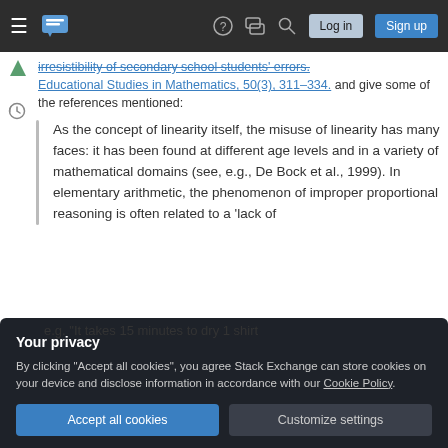Stack Exchange navigation bar with hamburger menu, logo, help, chat, search icons, Log in and Sign up buttons
irresistibility of secondary school students' errors. Educational Studies in Mathematics, 50(3), 311–334. and give some of the references mentioned:
As the concept of linearity itself, the misuse of linearity has many faces: it has been found at different age levels and in a variety of mathematical domains (see, e.g., De Bock et al., 1999). In elementary arithmetic, the phenomenon of improper proportional reasoning is often related to a 'lack of
Your privacy
By clicking "Accept all cookies", you agree Stack Exchange can store cookies on your device and disclose information in accordance with our Cookie Policy.
e.g. "It takes 15 minutes to dry 1 shirt